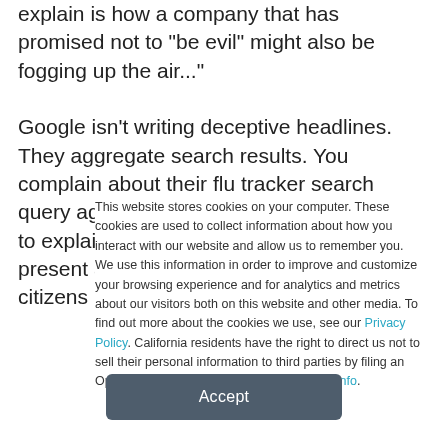explain is how a company that has promised not to "be evil" might also be fogging up the air...

Google isn't writing deceptive headlines. They aggregate search results. You complain about their flu tracker search query aggregation and say that it is "harder to explain" than deceptive headlines — but present a weak argument about how senior citizens
This website stores cookies on your computer. These cookies are used to collect information about how you interact with our website and allow us to remember you. We use this information in order to improve and customize your browsing experience and for analytics and metrics about our visitors both on this website and other media. To find out more about the cookies we use, see our Privacy Policy. California residents have the right to direct us not to sell their personal information to third parties by filing an Opt-Out Request: Do Not Sell My Personal Info.
Accept